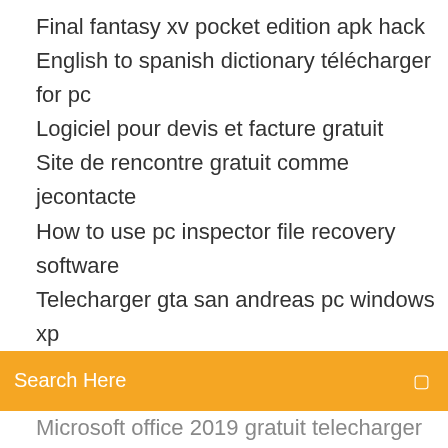Final fantasy xv pocket edition apk hack
English to spanish dictionary télécharger for pc
Logiciel pour devis et facture gratuit
Site de rencontre gratuit comme jecontacte
How to use pc inspector file recovery software
Telecharger gta san andreas pc windows xp
Search Here
Microsoft office 2019 gratuit telecharger complete version for pc
Programme tv tnt gratuit maintenant
Google chrome remote desktop web
Surveiller son poids application
Crack microsoft office 2007 ultimate
Es file explorer file manager 4.1.8.1 apk
Logiciel suivi de maintenance gratuit
Autocad 360 gratuit télécharger for windows 8
Jeux de avatar aang gratuit
Internet explorer 11 for windows 7 64 bit